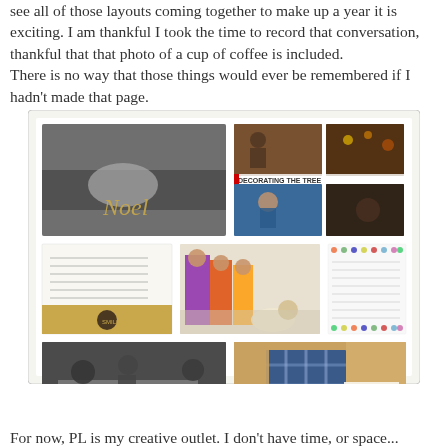see all of those layouts coming together to make up a year it is exciting. I am thankful I took the time to record that conversation, thankful that that photo of a cup of coffee is included.
There is no way that those things would ever be remembered if I hadn't made that page.
[Figure (photo): A scrapbook/Project Life layout spread showing multiple photos and journaling cards. Top left: black and white photo of hands holding a camera with gold script text 'Noel'. Top right: four small photos arranged in a grid showing holiday/decorating scenes with text 'DECORATING THE TREE'. Middle left: a journaling card with handwritten text and a gold circle label. Middle center: a colorful photo of people in costumes with a dog. Middle right: a journaling card with colorful polka dot border. Bottom left: black and white photo of people at a table. Bottom right: photos of wrapped gifts/plaid shirt with text 'WEEK FIFTY ONE' and date.]
For now, PL is my creative outlet. I don't have time, or space...